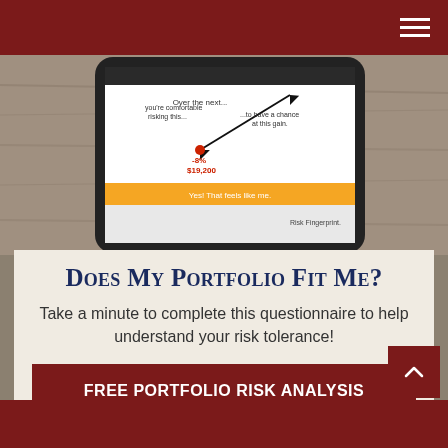[Figure (screenshot): Mobile phone screen showing a risk tolerance questionnaire with arrows and values: -8%, $19,200, 'Yes! That feels like me.' button, and text 'you're comfortable risking this...' and '...to have a chance at this gain.']
Does My Portfolio Fit Me?
Take a minute to complete this questionnaire to help understand your risk tolerance!
FREE PORTFOLIO RISK ANALYSIS